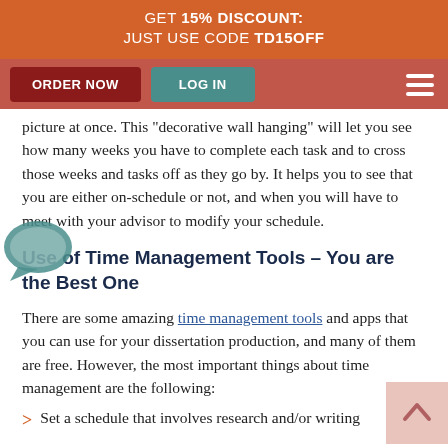GET 15% DISCOUNT: JUST USE CODE TD15OFF
ORDER NOW | LOG IN
picture at once. This "decorative wall hanging" will let you see how many weeks you have to complete each task and to cross those weeks and tasks off as they go by. It helps you to see that you are either on-schedule or not, and when you will have to meet with your advisor to modify your schedule.
Use of Time Management Tools – You are the Best One
There are some amazing time management tools and apps that you can use for your dissertation production, and many of them are free. However, the most important things about time management are the following:
Set a schedule that involves research and/or writing